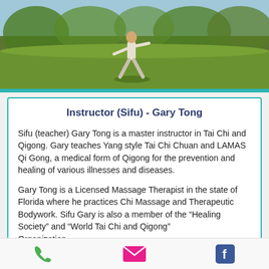[Figure (photo): Person practicing Tai Chi outdoors on a green lawn with trees in the background]
Instructor (Sifu) - Gary Tong
Sifu (teacher) Gary Tong is a master instructor in Tai Chi and Qigong. Gary teaches Yang style Tai Chi Chuan and LAMAS Qi Gong, a medical form of Qigong for the prevention and healing of various illnesses and diseases.
Gary Tong is a Licensed Massage Therapist in the state of Florida where he practices Chi Massage and Therapeutic Bodywork. Sifu Gary is also a member of the “Healing Society” and “World Tai Chi and Qigong” Organization...
Phone | Email | Facebook